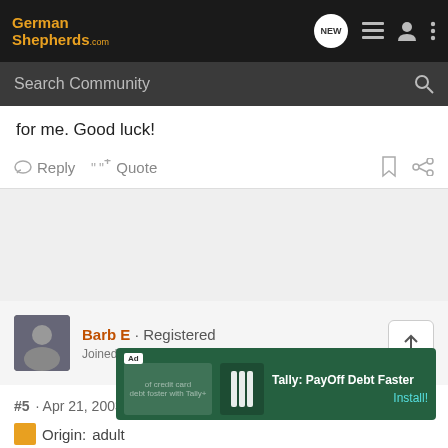GermanShepherds.com
for me. Good luck!
Reply  Quote
[Figure (other): Advertisement area (gray background)]
Barb E · Registered
Joined Jun 6, 2004 · 14,509 Posts
#5 · Apr 21, 2003
[Figure (other): Ad banner: Tally: PayOff Debt Faster, Install!]
Origin:  adult